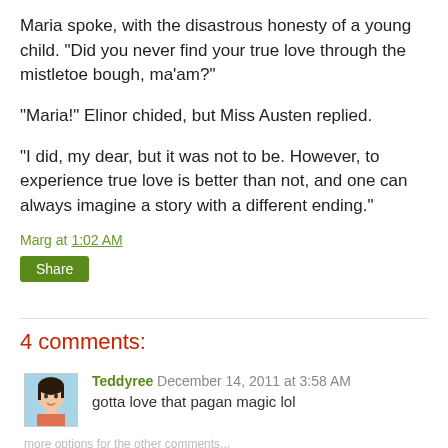Maria spoke, with the disastrous honesty of a young child. "Did you never find your true love through the mistletoe bough, ma'am?"
"Maria!" Elinor chided, but Miss Austen replied.
"I did, my dear, but it was not to be. However, to experience true love is better than not, and one can always imagine a story with a different ending."
Marg at 1:02 AM
Share
4 comments:
Teddyree December 14, 2011 at 3:58 AM
gotta love that pagan magic lol
More options for the other comments...